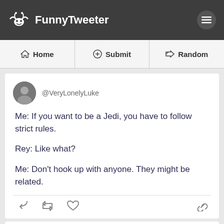FunnyTweeter
Home | Submit | Random
@VeryLonelyLuke

Me: If you want to be a Jedi, you have to follow strict rules.

Rey: Like what?

Me: Don't hook up with anyone. They might be related.
@Crazy_ButCute2